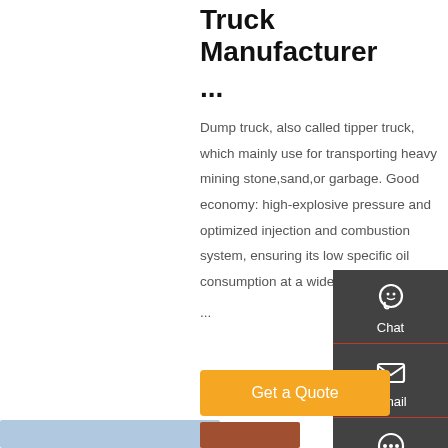Truck Manufacturer ...
Dump truck, also called tipper truck, which mainly use for transporting heavy mining stone,sand,or garbage. Good economy: high-explosive pressure and optimized injection and combustion system, ensuring its low specific oil consumption at a wide range ...
[Figure (screenshot): Sidebar with Chat, Email, Contact, and Top navigation icons on dark grey background]
[Figure (photo): Partial view of product images at bottom of page]